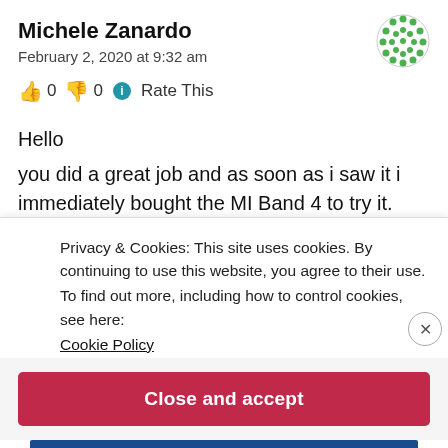Michele Zanardo
February 2, 2020 at 9:32 am
👍 0 👎 0 ℹ Rate This
Hello
you did a great job and as soon as i saw it i immediately bought the MI Band 4 to try it.
I think the version 0.1 is fantastic for its easy way to
Privacy & Cookies: This site uses cookies. By continuing to use this website, you agree to their use.
To find out more, including how to control cookies, see here:
Cookie Policy
Close and accept